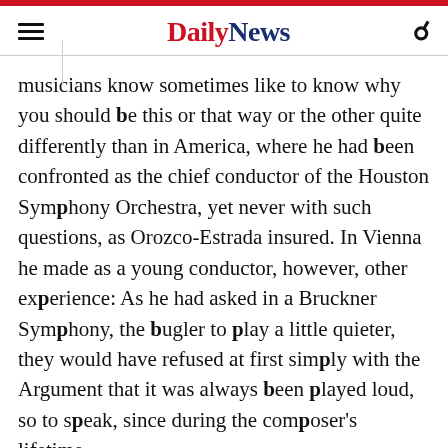Daily News
musicians know sometimes like to know why you should be this or that way or the other quite differently than in America, where he had been confronted as the chief conductor of the Houston Symphony Orchestra, yet never with such questions, as Orozco-Estrada insured. In Vienna he made as a young conductor, however, other experience: As he had asked in a Bruckner Symphony, the bugler to play a little quieter, they would have refused at first simply with the Argument that it was always been played loud, so to speak, since during the composer's lifetime.
to recognize The different traditions of the orchestra in terms of the sound and the repertoire, to maintain and develop. Orozco-Estrada for one of the most